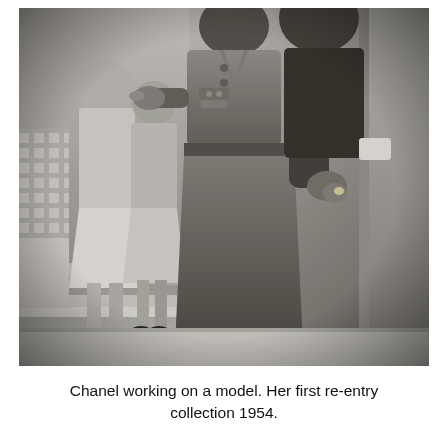[Figure (photo): Black and white photograph of Coco Chanel working on a model (adjusting a garment on a woman). In the background, other figures are visible on steps. The central figure wears a tailored suit jacket and skirt. The scene is from a fashion fitting, 1954.]
Chanel working on a model. Her first re-entry collection 1954.